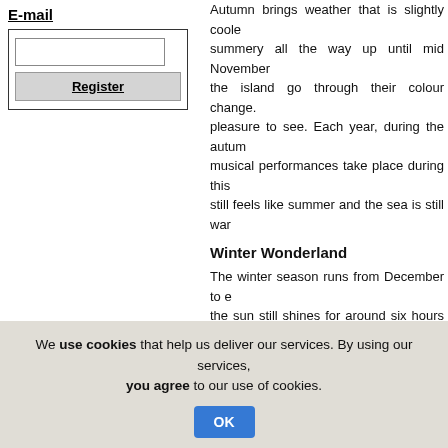E-mail
Register
Autumn brings weather that is slightly cooler, summery all the way up until mid November, the island go through their colour change, pleasure to see. Each year, during the autumn, musical performances take place during this, still feels like summer and the sea is still warm.
Winter Wonderland
The winter season runs from December to e... the sun still shines for around six hours during to tourists during the winter. However Cyprus Insurers to find what you are looking for. Cyprus best visited during this season. Winter is the snow for a great skiing experience.
Pleasant Spring
Spring is the time when the countryside is bloom. It is the best time to take in the splendour to enable enjoyable and comfortable walking.
We use cookies that help us deliver our services. By using our services, you agree to our use of cookies.